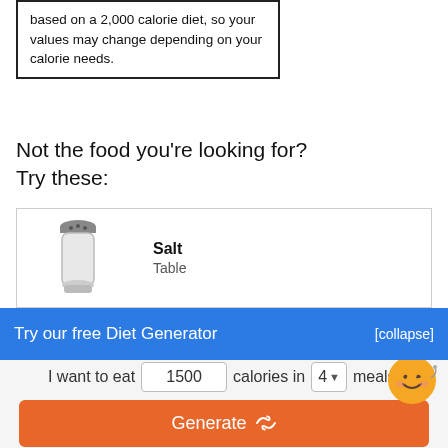based on a 2,000 calorie diet, so your values may change depending on your calorie needs.
Not the food you're looking for? Try these:
| Image | Food |
| --- | --- |
| [salt shaker image] | Salt
Table |
| [pepper grinder image] | Pepper
Spices, black |
Try our free Diet Generator
[collapse]
I want to eat 1500 calories in 4 meals.
Generate